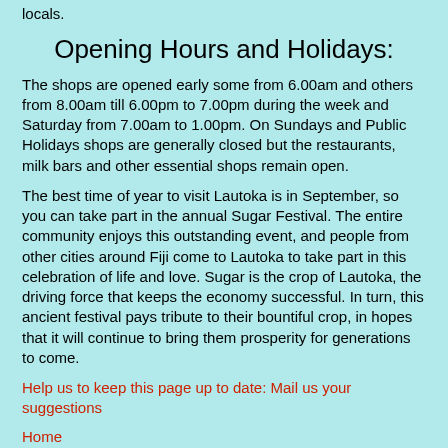locals.
Opening Hours and Holidays:
The shops are opened early some from 6.00am and others from 8.00am till 6.00pm to 7.00pm during the week and Saturday from 7.00am to 1.00pm. On Sundays and Public Holidays shops are generally closed but the restaurants, milk bars and other essential shops remain open.
The best time of year to visit Lautoka is in September, so you can take part in the annual Sugar Festival. The entire community enjoys this outstanding event, and people from other cities around Fiji come to Lautoka to take part in this celebration of life and love. Sugar is the crop of Lautoka, the driving force that keeps the economy successful. In turn, this ancient festival pays tribute to their bountiful crop, in hopes that it will continue to bring them prosperity for generations to come.
Help us to keep this page up to date: Mail us your suggestions
Home